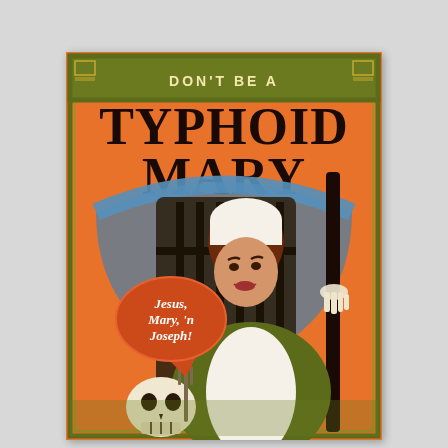[Figure (illustration): Book cover illustration for 'Don't Be a Typhoid Mary'. Orange background with vintage/retro art nouveau style. Features a woman in an early 20th century cook outfit (green dress, white apron, white bonnet) smiling while handling a skull. Behind her is a dark iron gate and a large scythe/Grim Reaper figure. An orange speech bubble reads 'Jesus, Mary, 'n Joseph!'. Title text 'DON'T BE A' in olive/dark yellow banner at top, 'TYPHOID MARY' in large dark serif letters. Decorative olive/gold border around the entire cover.]